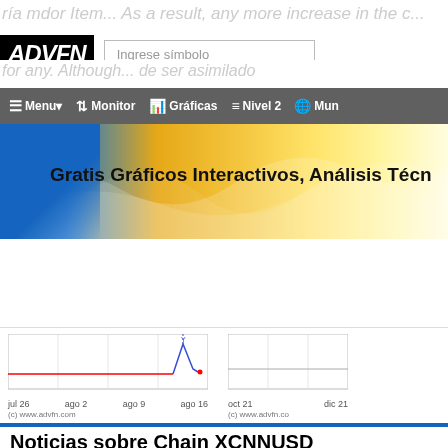[Figure (screenshot): ADVFN website screenshot showing logo, search bar, navigation menu with Menu, Monitor, Gráficas, Nivel 2, Mun buttons, a banner for Gratis Gráficos Interactivos Análisis Técn, two stock charts for dates jul 26 to ago 16 and oct 21 to dic 21, and a news section for Chain XCNNUSD]
ADVFN — Ingrese símbolo | Menu | Monitor | Gráficas | Nivel 2 | Mun
Gratis Gráficos Interactivos, Análisis Técn
Noticias sobre Chain XCNNUSD
BlackRock, Google and Morgan Stanley Investing Billions In